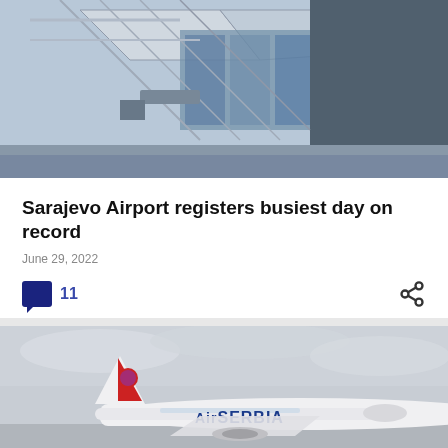[Figure (photo): Exterior of a modern airport terminal building with large glass windows and structural steel elements, viewed from the tarmac.]
Sarajevo Airport registers busiest day on record
June 29, 2022
11 [comments] [share]
[Figure (photo): Air Serbia aircraft on tarmac with overcast sky background; the tail shows a red emblem and the fuselage reads 'Air SERBIA'.]